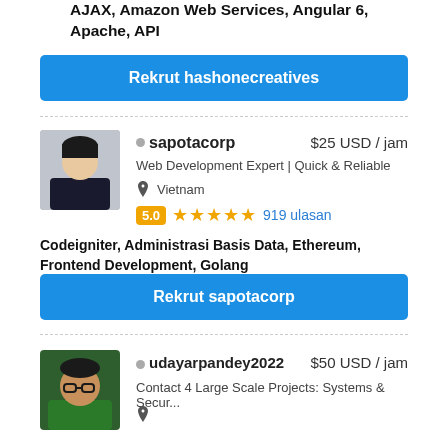AJAX, Amazon Web Services, Angular 6, Apache, API
Rekrut hashonecreatives
[Figure (photo): Profile photo of sapotacorp - man in dark clothing]
sapotacorp  $25 USD / jam
Web Development Expert | Quick & Reliable
Vietnam
5.0  ★★★★★  919 ulasan
Codeigniter, Administrasi Basis Data, Ethereum, Frontend Development, Golang
Rekrut sapotacorp
[Figure (photo): Profile photo of udayarpandey2022 - man with glasses in green shirt]
udayarpandey2022  $50 USD / jam
Contact 4 Large Scale Projects: Systems & Secur...